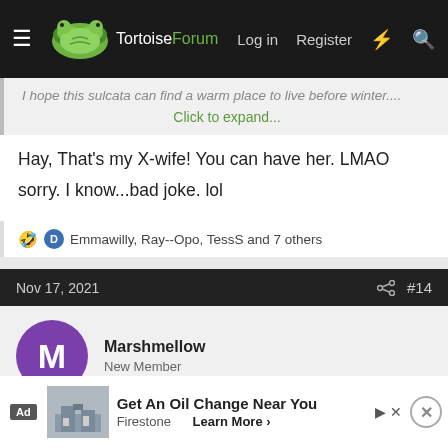TortoiseForum — Log in  Register
I hope this sulcata can find a warm place to live before winter....
Click to expand...
Hay, That's my X-wife! You can have her. LMAO
sorry. I know...bad joke. lol
🤣 D  Emmawilly, Ray--Opo, TessS and 7 others
Nov 17, 2021  #14
Marshmellow
New Member
[Figure (screenshot): Ad banner: Get An Oil Change Near You — Firestone, Learn More]
Ad  Get An Oil Change Near You  Firestone  Learn More